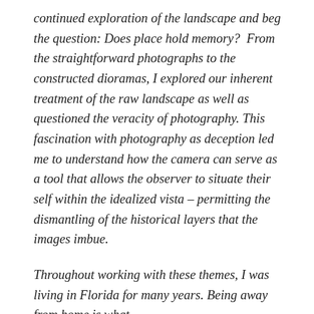continued exploration of the landscape and beg the question: Does place hold memory?  From the straightforward photographs to the constructed dioramas, I explored our inherent treatment of the raw landscape as well as questioned the veracity of photography. This fascination with photography as deception led me to understand how the camera can serve as a tool that allows the observer to situate their self within the idealized vista – permitting the dismantling of the historical layers that the images imbue.
Throughout working with these themes, I was living in Florida for many years. Being away from home is what